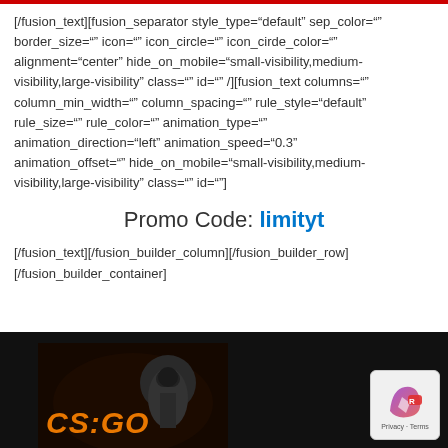[/fusion_text][fusion_separator style_type="default" sep_color="" border_size="" icon="" icon_circle="" icon_cirde_color="" alignment="center" hide_on_mobile="small-visibility,medium-visibility,large-visibility" class="" id="" /][fusion_text columns="" column_min_width="" column_spacing="" rule_style="default" rule_size="" rule_color="" animation_type="" animation_direction="left" animation_speed="0.3" animation_offset="" hide_on_mobile="small-visibility,medium-visibility,large-visibility" class="" id=""]
Promo Code: limityt
[/fusion_text][/fusion_builder_column][/fusion_builder_row][/fusion_builder_container]
[Figure (photo): CS:GO game artwork showing a soldier in tactical gear with orange CS:GO text, alongside a privacy badge overlay in the bottom right corner]